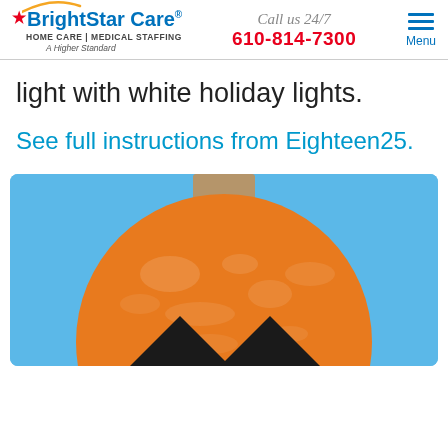BrightStar Care HOME CARE | MEDICAL STAFFING A Higher Standard | Call us 24/7 610-814-7300 | Menu
light with white holiday lights.
See full instructions from Eighteen25.
[Figure (illustration): A jack-o-lantern pumpkin craft on a blue background, showing an orange circular pumpkin with a brown stem on top and black triangular teeth forming a mouth at the bottom.]